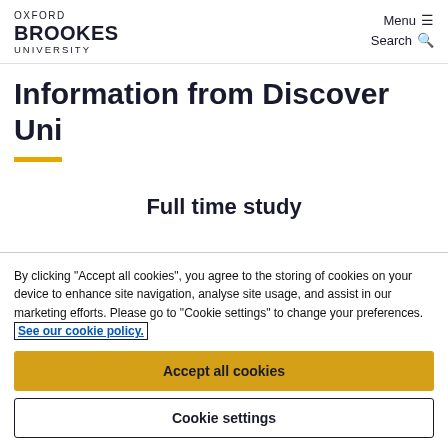OXFORD BROOKES UNIVERSITY | Menu ☰ | Search 🔍
Information from Discover Uni
Full time study
By clicking "Accept all cookies", you agree to the storing of cookies on your device to enhance site navigation, analyse site usage, and assist in our marketing efforts. Please go to "Cookie settings" to change your preferences. See our cookie policy.
Accept all cookies
Cookie settings